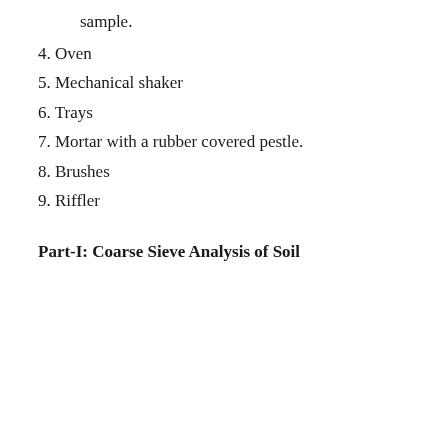sample.
4. Oven
5. Mechanical shaker
6. Trays
7. Mortar with a rubber covered pestle.
8. Brushes
9. Riffler
Part-I: Coarse Sieve Analysis of Soil